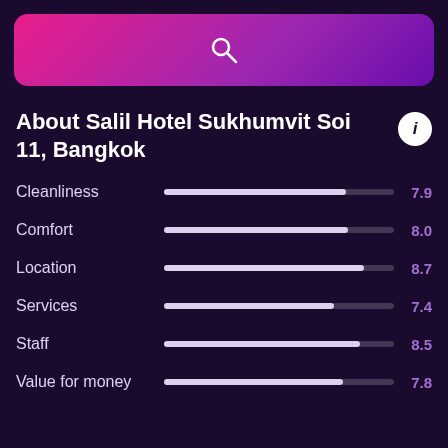[Figure (other): Search bar with pink-to-purple gradient background and a search (magnifying glass) icon in the center]
About Salil Hotel Sukhumvit Soi 11, Bangkok
[Figure (bar-chart): Hotel ratings]